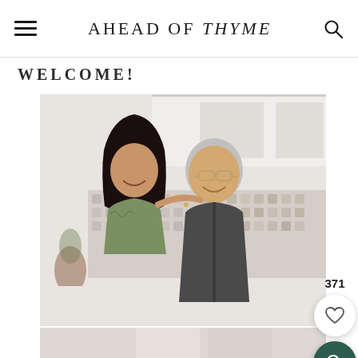AHEAD OF THYME
WELCOME!
[Figure (photo): A smiling couple in a modern kitchen with white cabinets and geometric tile backsplash. A woman with dark hair wearing a green ruffle top leans against a man wearing a dark grey zip-up jacket with glasses.]
[Figure (photo): Partial view of a second photo showing the same couple or kitchen scene, cut off at the bottom of the page.]